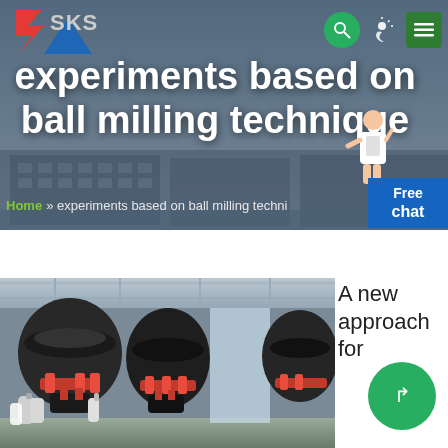[Figure (screenshot): SKS company logo with red lightning bolt S and blue triangle, plus SKS text in grey]
experiments based on ball milling technique
Home » experiments based on ball milling techni...
[Figure (photo): Industrial machinery interior showing large black and red ball milling machines in a factory warehouse]
A new approach for